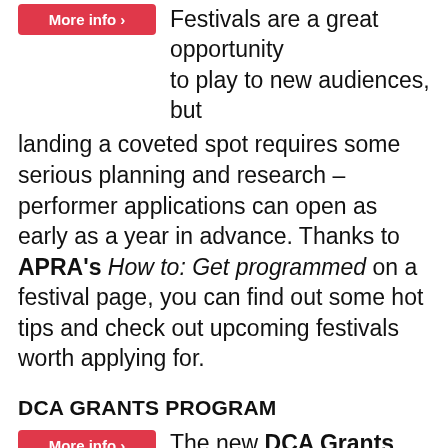Festivals are a great opportunity to play to new audiences, but landing a coveted spot requires some serious planning and research – performer applications can open as early as a year in advance. Thanks to APRA's How to: Get programmed on a festival page, you can find out some hot tips and check out upcoming festivals worth applying for.
DCA GRANTS PROGRAM
The new DCA Grants Program has just been announced, with changes now allowing for individuals, groups and arts organisations to apply for different types of funding in five categories including